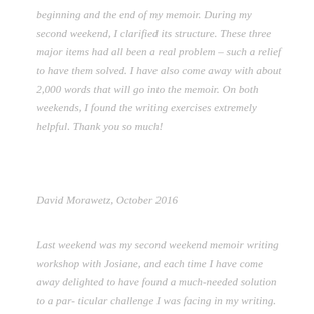beginning and the end of my memoir. During my second weekend, I clarified its structure. These three major items had all been a real problem – such a relief to have them solved. I have also come away with about 2,000 words that will go into the memoir. On both weekends, I found the writing exercises extremely helpful. Thank you so much!
David Morawetz, October 2016
Last weekend was my second weekend memoir writing workshop with Josiane, and each time I have come away delighted to have found a much-needed solution to a particular challenge I was facing in my writing. Josiane's feed-